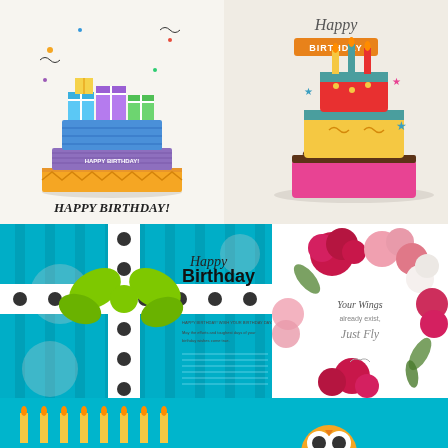[Figure (illustration): Birthday card with doodle-style layered cake with colorful gift boxes on top, decorated with confetti, text HAPPY BIRTHDAY! in bold letters below]
[Figure (illustration): Birthday card with 'Happy Birthday' cursive script at top and a colorful tiered cake with candles and stars on beige background]
[Figure (illustration): Birthday gift box card with teal/blue striped gift box with black and white polka dot ribbon and green bow, text 'Happy Birthday' in bold]
[Figure (illustration): Floral birthday card with pink and red roses/peonies wreath, text 'Your Wings already exist, Just Fly' in script]
[Figure (illustration): Teal birthday card with candles, partially visible at bottom left]
[Figure (illustration): Teal birthday card with cartoon owl, partially visible at bottom right]